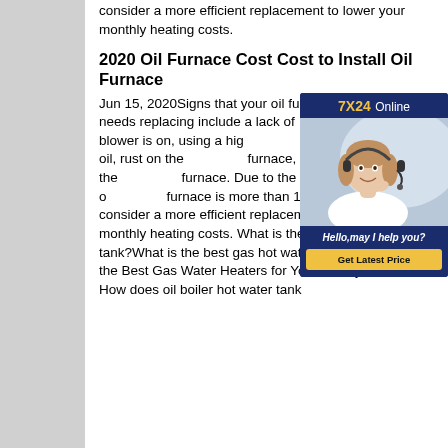consider a more efficient replacement to lower your monthly heating costs.
2020 Oil Furnace Cost Cost to Install Oil Furnace
Jun 15, 2020Signs that your oil furnace needs replacing include a lack of heat when the blower is on, using a higher average amount of oil, rust on the furnace, or noise coming from the furnace. Due to the high cost of oil, if a furnace is more than 10 years old, you should consider a more efficient replacement to lower your monthly heating costs. What is the best gas hot water tank?What is the best gas hot water tank?Reviews of the Best Gas Water Heaters for Your Money in 2018 How does oil boiler hot water tank
[Figure (infographic): Customer service chat widget with '7X24 Online' header in navy blue, photo of a young woman with headset smiling, and 'Hello, may I help you?' text with a yellow 'Get Latest Price' button at the bottom.]